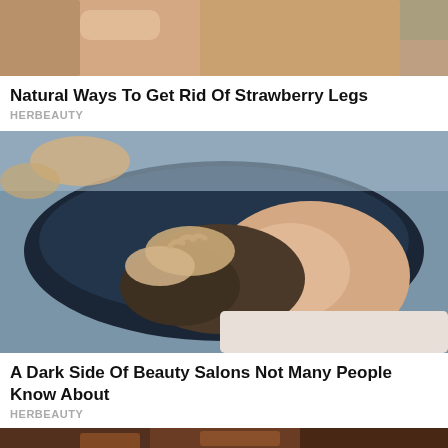[Figure (photo): Partial view of a person's legs, cropped at top of page]
Natural Ways To Get Rid Of Strawberry Legs
HERBEAUTY
[Figure (photo): Woman getting her hair washed at a salon basin, reclining with eyes closed while hands massage her hair]
A Dark Side Of Beauty Salons Not Many People Know About
HERBEAUTY
[Figure (photo): Partial view of another article image at bottom, dark warm tones]